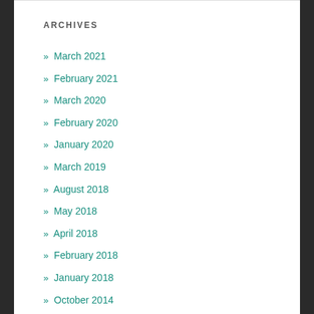ARCHIVES
March 2021
February 2021
March 2020
February 2020
January 2020
March 2019
August 2018
May 2018
April 2018
February 2018
January 2018
October 2014